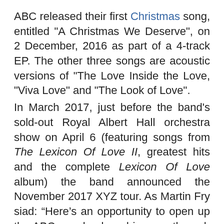ABC released their first Christmas song, entitled "A Christmas We Deserve", on 2 December, 2016 as part of a 4-track EP. The other three songs are acoustic versions of "The Love Inside the Love, "Viva Love" and "The Look of Love".
In March 2017, just before the band's sold-out Royal Albert Hall orchestra show on April 6 (featuring songs from The Lexicon Of Love II, greatest hits and the complete Lexicon Of Love album) the band announced the November 2017 XYZ tour. As Martin Fry siad: “Here’s an opportunity to open up the ABC songbook and journey through all the hits. Lexicon to Lexicon. ABC to XYZ. See you there.”
Unknown at 12:00:00 AM
Share
No comments: